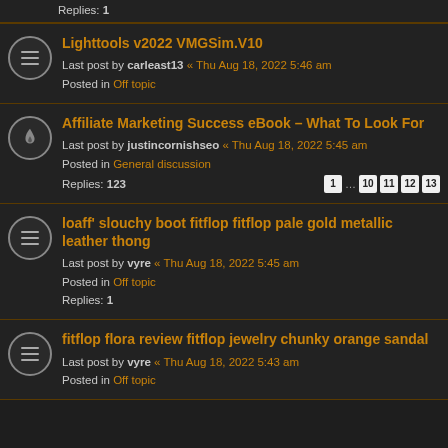Replies: 1
Lighttools v2022 VMGSim.V10 — Last post by carleast13 « Thu Aug 18, 2022 5:46 am — Posted in Off topic
Affiliate Marketing Success eBook - What To Look For — Last post by justincornishseo « Thu Aug 18, 2022 5:45 am — Posted in General discussion — Replies: 123
loaff' slouchy boot fitflop fitflop pale gold metallic leather thong — Last post by vyre « Thu Aug 18, 2022 5:45 am — Posted in Off topic — Replies: 1
fitflop flora review fitflop jewelry chunky orange sandal — Last post by vyre « Thu Aug 18, 2022 5:43 am — Posted in Off topic